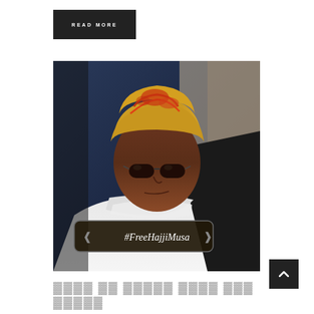READ MORE
[Figure (photo): A man wearing a yellow head wrap with red Arabic lettering and dark sunglasses, dressed in white, with a hashtag overlay reading #FreeHajjiMusa]
#FreeHajjiMusa
████ ██ █████ ████ ███ █████